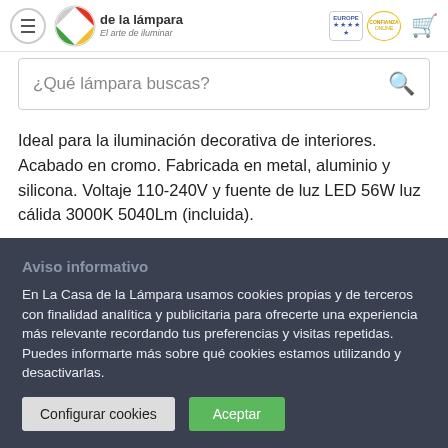La Casa de la Lámpara - El arte de iluminar
¿Qué lámpara buscas?
Ideal para la iluminación decorativa de interiores. Acabado en cromo. Fabricada en metal, aluminio y silicona. Voltaje 110-240V y fuente de luz LED 56W luz cálida 3000K 5040Lm (incluida).
Aviso informativo
En La Casa de la Lámpara usamos cookies propias y de terceros con finalidad analítica y publicitaria para ofrecerte una experiencia más relevante recordando tus preferencias y visitas repetidas. Puedes informarte más sobre qué cookies estamos utilizando y desactivarlas.
Configurar cookies | Aceptar